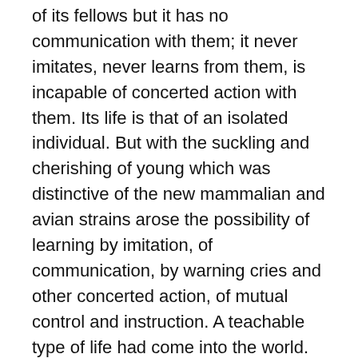of its fellows but it has no communication with them; it never imitates, never learns from them, is incapable of concerted action with them. Its life is that of an isolated individual. But with the suckling and cherishing of young which was distinctive of the new mammalian and avian strains arose the possibility of learning by imitation, of communication, by warning cries and other concerted action, of mutual control and instruction. A teachable type of life had come into the world.
The earliest mammals of the Cainozoic period are but little superior in brain size to the more active carnivorous dinosaurs, but as we read on through the record towards modern times we find, in every tribe and race of the mammalian animals, a